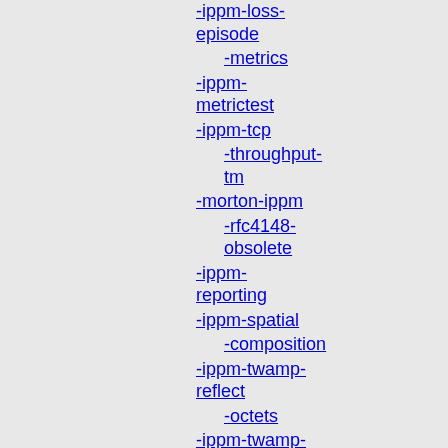-ippm-loss-episode
-metrics
-ippm-metrictest
-ippm-tcp
-throughput-tm
-morton-ippm
-rfc4148-obsolete
-ippm-reporting
-ippm-spatial
-composition
-ippm-twamp-reflect
-octets
-ippm-twamp-session
-cntrl
-ippm-framework
-compagg
-ippm-multimetrics
-ippm-more-